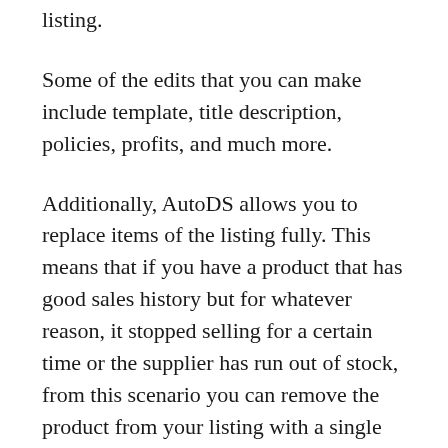listing.
Some of the edits that you can make include template, title description, policies, profits, and much more.
Additionally, AutoDS allows you to replace items of the listing fully. This means that if you have a product that has good sales history but for whatever reason, it stopped selling for a certain time or the supplier has run out of stock, from this scenario you can remove the product from your listing with a single click. Isn't it nice?
#8: Multiple Account Management